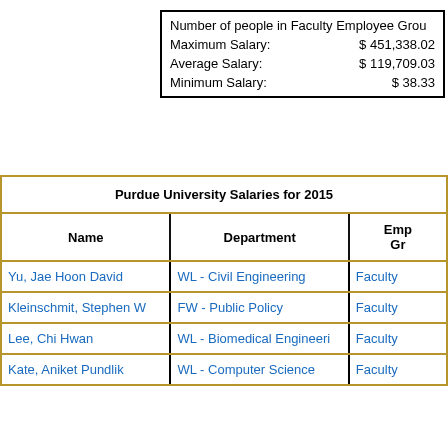|  |  |
| --- | --- |
| Number of people in Faculty Employee Group |  |
| Maximum Salary: | $ 451,338.02 |
| Average Salary: | $ 119,709.03 |
| Minimum Salary: | $ 38.33 |
| Name | Department | Employee Group |
| --- | --- | --- |
| Yu, Jae Hoon David | WL - Civil Engineering | Faculty |
| Kleinschmit, Stephen W | FW - Public Policy | Faculty |
| Lee, Chi Hwan | WL - Biomedical Engineeri | Faculty |
| Kate, Aniket Pundlik | WL - Computer Science | Faculty |